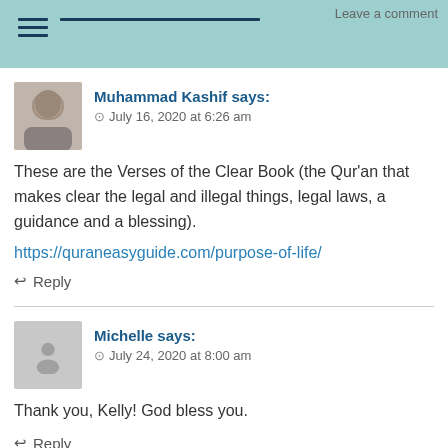Leave a comment
Muhammad Kashif says:
July 16, 2020 at 6:26 am
These are the Verses of the Clear Book (the Qur'an that makes clear the legal and illegal things, legal laws, a guidance and a blessing).
https://quraneasyguide.com/purpose-of-life/
Reply
Michelle says:
July 24, 2020 at 8:00 am
Thank you, Kelly! God bless you.
Reply